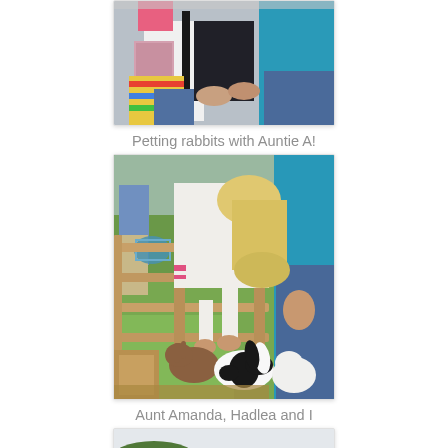[Figure (photo): Group of people petting rabbits at an outdoor event; close-up of hands and torsos in a crowd]
Petting rabbits with Auntie A!
[Figure (photo): Woman with blonde hair leaning over a wooden fence petting black and white rabbits on grass; child with basket in background; person in teal shirt on right]
Aunt Amanda, Hadlea and I
[Figure (photo): Two blonde people outdoors with green trees and overcast sky in background]